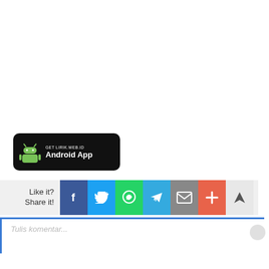[Figure (screenshot): Android app download banner for lirik.web.id with green Android robot icon on black rounded rectangle background. Text reads 'GET LIRIK.WEB.ID' and 'Android App']
[Figure (screenshot): Social share bar with 'Like it? Share it!' label and buttons for Facebook, Twitter, WhatsApp, Telegram, Email, Plus, and an arrow/navigate button]
[Figure (screenshot): Comment input box with blue left border and placeholder text 'Tulis komentar...' and a scroll button]